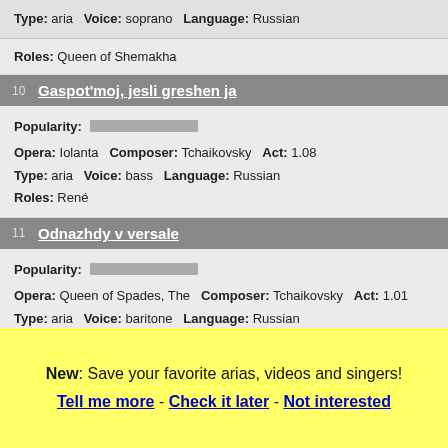Type: aria   Voice: soprano   Language: Russian
Roles: Queen of Shemakha
10  Gaspot'moj, jesli greshen ja
Popularity: [bar]
Opera: Iolanta   Composer: Tchaikovsky   Act: 1.08
Type: aria   Voice: bass   Language: Russian
Roles: René
11  Odnazhdy v versale
Popularity: [bar]
Opera: Queen of Spades, The   Composer: Tchaikovsky   Act: 1.01
Type: aria   Voice: baritone   Language: Russian
Roles: Count Tomsky
12  Yeslib miliya devitsy
New: Save your favorite arias, videos and singers! Tell me more - Check it later - Not interested